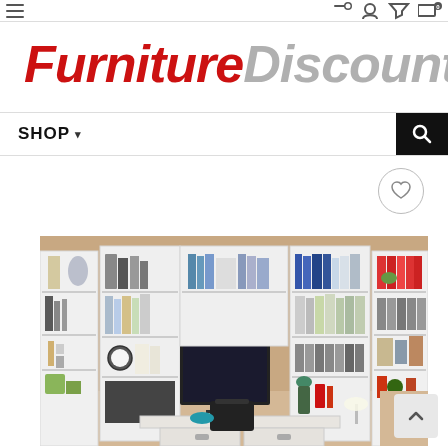Navigation bar with hamburger menu and icons
[Figure (logo): Furniture Discounters logo in bold italic style, 'Furniture' in red and 'Discounters' in gray]
SHOP ▾ navigation bar with search icon
[Figure (photo): White built-in bookcase wall unit with TV console, desk, and shelves filled with books and accessories in a home office setting]